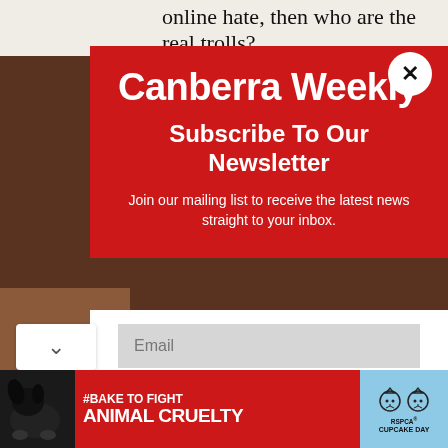online hate, then who are the real trolls?
Canberra Weekly
Subscribe To Our Newsletter
Join our mailing list to receive the latest news straight to your inbox.
Email
SUBSCRIBE!
[Figure (infographic): Bottom advertisement banner: '#BAKE TO FIGHT ANIMAL CRUELTY' with RSPCA Cupcake Day branding, featuring a dog image on the left and cat icons on the right on a light blue background.]